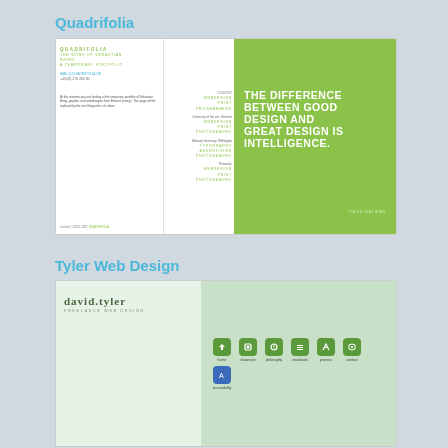Quadrifolia
[Figure (screenshot): Screenshot of Quadrifolia website showing logo, navigation, contact info, and a large green panel with the quote: THE DIFFERENCE BETWEEN GOOD DESIGN AND GREAT DESIGN IS INTELLIGENCE. — Tibor Kalman]
Tyler Web Design
[Figure (screenshot): Screenshot of Tyler Web Design website showing david.tyler freelance web design logo on the left and navigation icons on the right including home, showcase, philosophy, standards, process, contact, accessibility]